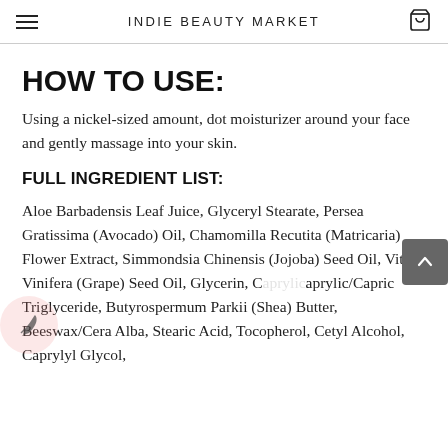INDIE BEAUTY MARKET
HOW TO USE:
Using a nickel-sized amount, dot moisturizer around your face and gently massage into your skin.
FULL INGREDIENT LIST:
Aloe Barbadensis Leaf Juice, Glyceryl Stearate, Persea Gratissima (Avocado) Oil, Chamomilla Recutita (Matricaria) Flower Extract, Simmondsia Chinensis (Jojoba) Seed Oil, Vitis Vinifera (Grape) Seed Oil, Glycerin, Caprylic/Capric Triglyceride, Butyrospermum Parkii (Shea) Butter, Beeswax/Cera Alba, Stearic Acid, Tocopherol, Cetyl Alcohol, Caprylyl Glycol,